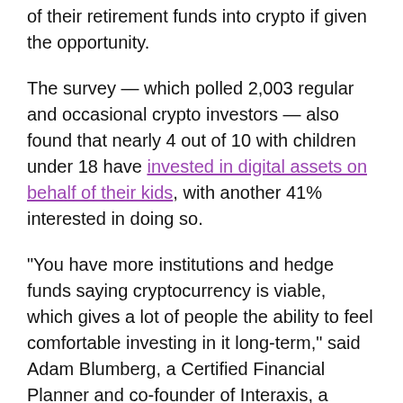of their retirement funds into crypto if given the opportunity.
The survey — which polled 2,003 regular and occasional crypto investors — also found that nearly 4 out of 10 with children under 18 have invested in digital assets on behalf of their kids, with another 41% interested in doing so.
“You have more institutions and hedge funds saying cryptocurrency is viable, which gives a lot of people the ability to feel comfortable investing in it long-term,” said Adam Blumberg, a Certified Financial Planner and co-founder of Interaxis, a cryptocurrency education platform.